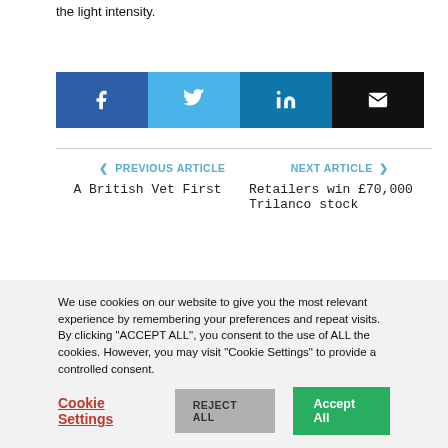the light intensity.
[Figure (infographic): Social share buttons: Facebook (dark blue), Twitter (light blue), LinkedIn (medium blue), Email (black)]
< PREVIOUS ARTICLE   A British Vet First
NEXT ARTICLE >   Retailers win £70,000 Trilanco stock
We use cookies on our website to give you the most relevant experience by remembering your preferences and repeat visits. By clicking "ACCEPT ALL", you consent to the use of ALL the cookies. However, you may visit "Cookie Settings" to provide a controlled consent.
Cookie Settings   REJECT ALL   Accept All